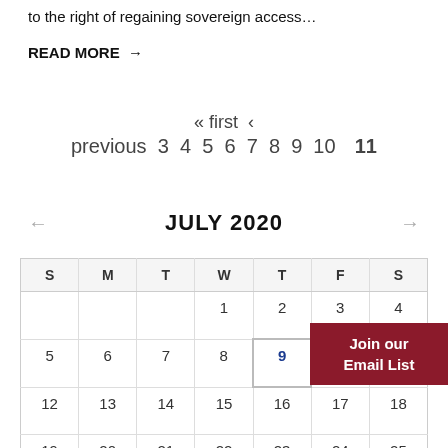to the right of regaining sovereign access…
READ MORE →
« first ‹ previous 3 4 5 6 7 8 9 10 11
← JULY 2020 →
| S | M | T | W | T | F | S |
| --- | --- | --- | --- | --- | --- | --- |
|  |  |  | 1 | 2 | 3 | 4 |
| 5 | 6 | 7 | 8 | 9 | 10 |  |
| 12 | 13 | 14 | 15 | 16 | 17 | 18 |
| 19 | 20 | 21 | 22 | 23 | 24 | 25 |
Join our Email List